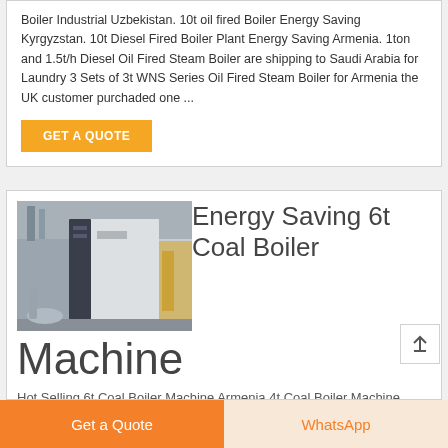Boiler Industrial Uzbekistan. 10t oil fired Boiler Energy Saving Kyrgyzstan. 10t Diesel Fired Boiler Plant Energy Saving Armenia. 1ton and 1.5t/h Diesel Oil Fired Steam Boiler are shipping to Saudi Arabia for Laundry 3 Sets of 3t WNS Series Oil Fired Steam Boiler for Armenia the UK customer purchaded one ...
GET A QUOTE
[Figure (photo): Industrial coal boiler machine in a warehouse setting, white and dark casing, large cylindrical structure.]
Energy Saving 6t Coal Boiler Machine
Hot Selling 6t Coal Boiler Machine Armenia 4t Coal Boiler Machine
Get a Quote   WhatsApp